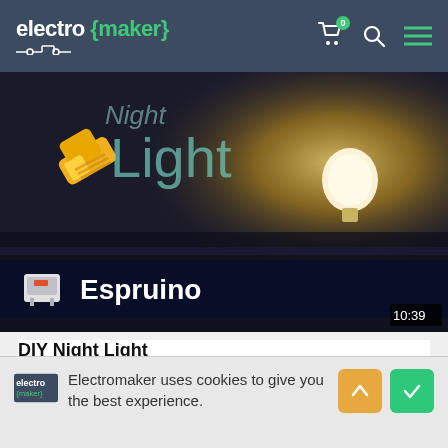electro {maker}
[Figure (screenshot): Video thumbnail showing DIY Night Light with Espruino board branding, flashlight icon, glowing bulb, and 10:39 duration timestamp]
DIY Night Light
743 views • 1 year ago
Electromaker uses cookies to give you the best experience.